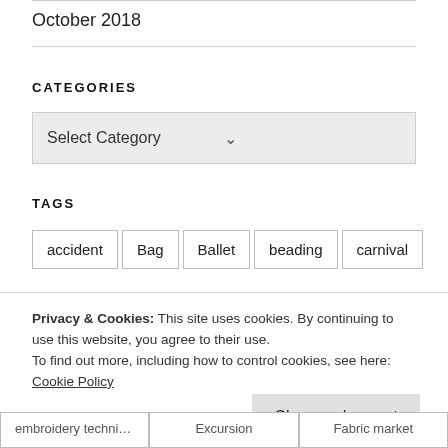October 2018
CATEGORIES
Select Category
TAGS
accident
Bag
Ballet
beading
carnival
Privacy & Cookies: This site uses cookies. By continuing to use this website, you agree to their use. To find out more, including how to control cookies, see here: Cookie Policy
Close and accept
embroidery technique
Excursion
Fabric market